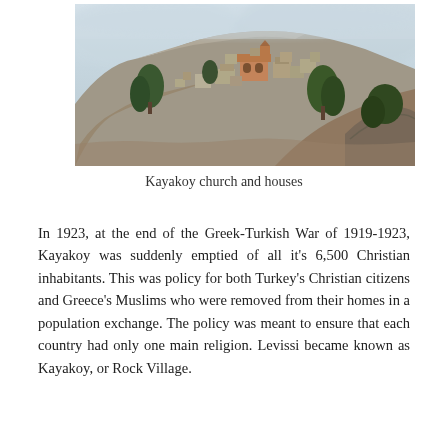[Figure (photo): Aerial/hillside view of Kayakoy (Levissi) ghost town in Turkey, showing ruined stone buildings and church on rocky hillside with trees and misty mountains in background.]
Kayakoy church and houses
In 1923, at the end of the Greek-Turkish War of 1919-1923, Kayakoy was suddenly emptied of all it's 6,500 Christian inhabitants. This was policy for both Turkey's Christian citizens and Greece's Muslims who were removed from their homes in a population exchange. The policy was meant to ensure that each country had only one main religion. Levissi became known as Kayakoy, or Rock Village.